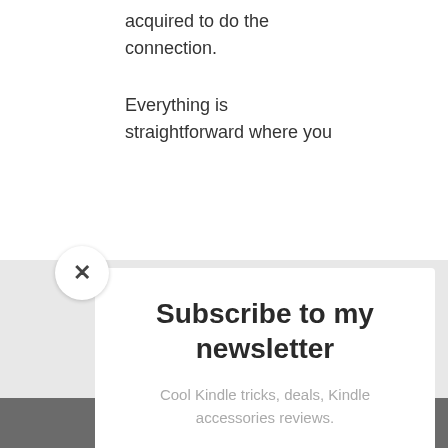acquired to do the connection.
Everything is straightforward where you
Subscribe to my newsletter
Cool Kindle tricks, deals, Kindle accessories reviews.
Email
SUBSCRIBE!
Share This ✓  ×